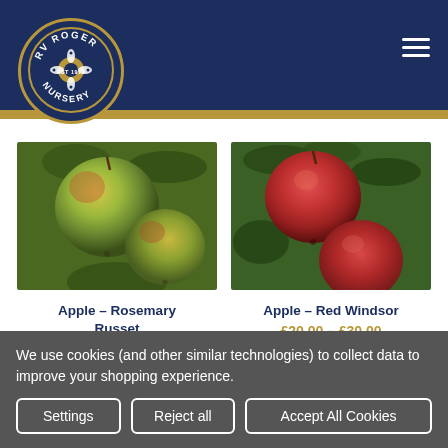[Figure (logo): RV Roger Nursery circular logo with flower motif, EST 1913, on navy background with gold border]
[Figure (photo): Green-yellow apples on tree branches — Apple Rosemary Russet]
Apple – Rosemary Russet
[Figure (photo): Red apples on tree branches — Apple Red Windsor]
Apple – Red Windsor
£20.00 – £30.00
We use cookies (and other similar technologies) to collect data to improve your shopping experience.
Settings
Reject all
Accept All Cookies